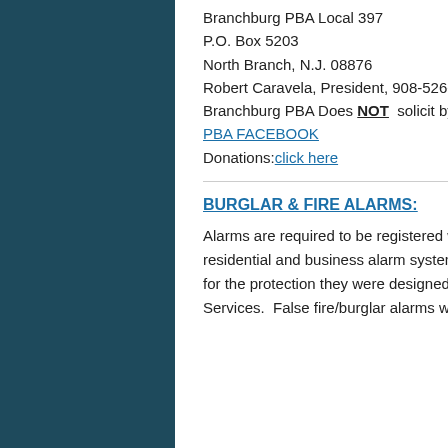Branchburg PBA Local 397
P.O. Box 5203
North Branch, N.J. 08876
Robert Caravela, President, 908-526-3830 EXT. 438
Branchburg PBA Does NOT solicit by telephone
PBA FACEBOOK
Donations: click here
BURGLAR & FIRE ALARMS:
Alarms are required to be registered with the Department of Fire Safety.  This includes all residential and business alarm systems.  We request your assistance in managing your alarm for the protection they were designed for and for more efficient use of your Fire and Police Services.  False fire/burglar alarms will be